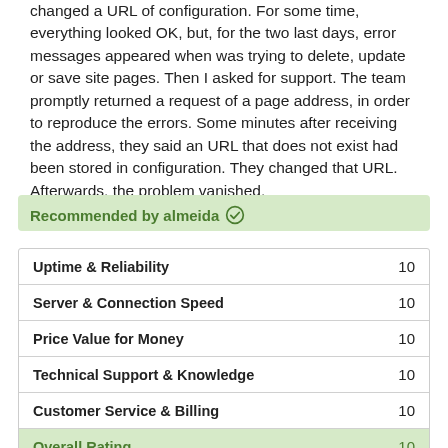changed a URL of configuration. For some time, everything looked OK, but, for the two last days, error messages appeared when was trying to delete, update or save site pages. Then I asked for support. The team promptly returned a request of a page address, in order to reproduce the errors. Some minutes after receiving the address, they said an URL that does not exist had been stored in configuration. They changed that URL. Afterwards, the problem vanished.
Recommended by almeida ✅
| Category | Score |
| --- | --- |
| Uptime & Reliability | 10 |
| Server & Connection Speed | 10 |
| Price Value for Money | 10 |
| Technical Support & Knowledge | 10 |
| Customer Service & Billing | 10 |
| Overall Rating | 10 |